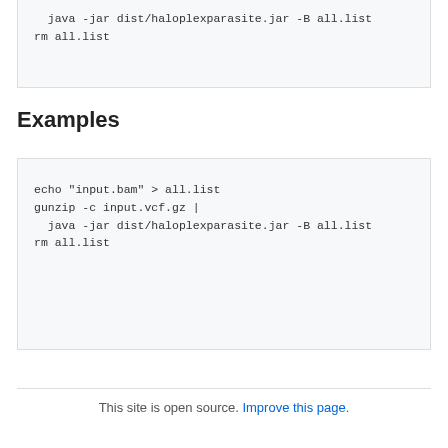java -jar dist/haloplexparasite.jar -B all.list
rm all.list
Examples
echo "input.bam" > all.list
gunzip -c input.vcf.gz |
  java -jar dist/haloplexparasite.jar -B all.list
rm all.list
This site is open source. Improve this page.